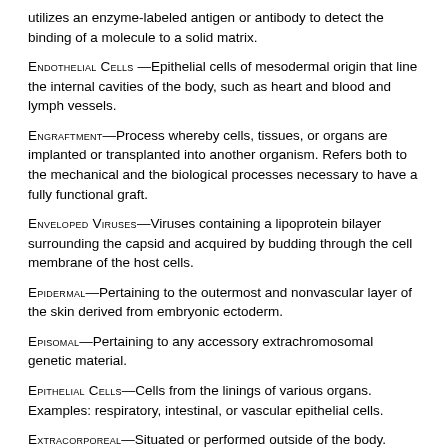utilizes an enzyme-labeled antigen or antibody to detect the binding of a molecule to a solid matrix.
ENDOTHELIAL CELLS —Epithelial cells of mesodermal origin that line the internal cavities of the body, such as heart and blood and lymph vessels.
ENGRAFTMENT—Process whereby cells, tissues, or organs are implanted or transplanted into another organism. Refers both to the mechanical and the biological processes necessary to have a fully functional graft.
ENVELOPED VIRUSES—Viruses containing a lipoprotein bilayer surrounding the capsid and acquired by budding through the cell membrane of the host cells.
EPIDERMAL—Pertaining to the outermost and nonvascular layer of the skin derived from embryonic ectoderm.
EPISOMAL—Pertaining to any accessory extrachromosomal genetic material.
EPITHELIAL CELLS—Cells from the linings of various organs. Examples: respiratory, intestinal, or vascular epithelial cells.
EXTRACORPOREAL—Situated or performed outside of the body.
EX VIVO—Procedure performed outside of the living organism.